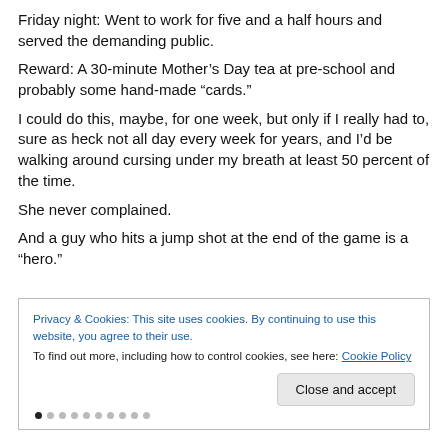Friday night: Went to work for five and a half hours and served the demanding public.
Reward: A 30-minute Mother’s Day tea at pre-school and probably some hand-made “cards.”
I could do this, maybe, for one week, but only if I really had to, sure as heck not all day every week for years, and I’d be walking around cursing under my breath at least 50 percent of the time.
She never complained.
And a guy who hits a jump shot at the end of the game is a “hero.”
Privacy & Cookies: This site uses cookies. By continuing to use this website, you agree to their use.
To find out more, including how to control cookies, see here: Cookie Policy